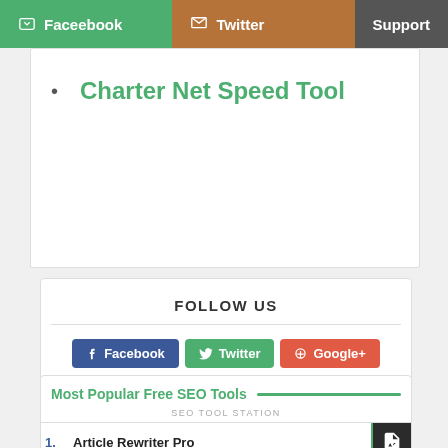Faceebook  Twitter  Support
Charter Net Speed Tool
FOLLOW US
Facebook  Twitter  Google+
Most Popular Free SEO Tools
SEO TOOL STATION
1. Article Rewriter Pro
2. Article Spinner
3. Plagiarism Checker
4. Youtube Video Ranker